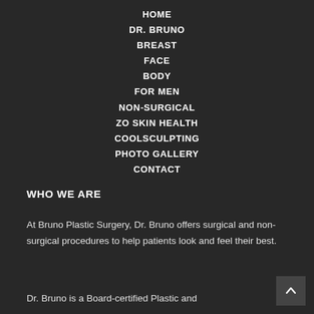HOME
DR. BRUNO
BREAST
FACE
BODY
FOR MEN
NON-SURGICAL
ZO SKIN HEALTH
COOLSCULPTING
PHOTO GALLERY
CONTACT
WHO WE ARE
At Bruno Plastic Surgery, Dr. Bruno offers surgical and non-surgical procedures to help patients look and feel their best.
Dr. Bruno is a Board-certified Plastic and